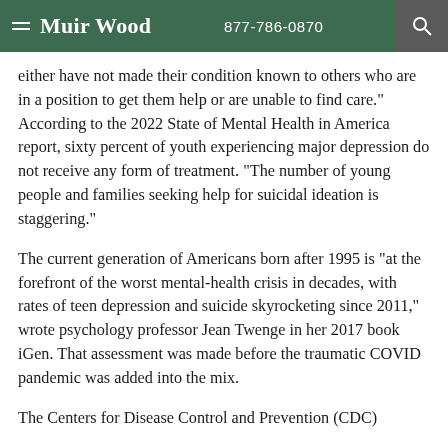Muir Wood | 877-786-0870
either have not made their condition known to others who are in a position to get them help or are unable to find care." According to the 2022 State of Mental Health in America report, sixty percent of youth experiencing major depression do not receive any form of treatment. "The number of young people and families seeking help for suicidal ideation is staggering."
The current generation of Americans born after 1995 is "at the forefront of the worst mental-health crisis in decades, with rates of teen depression and suicide skyrocketing since 2011," wrote psychology professor Jean Twenge in her 2017 book iGen. That assessment was made before the traumatic COVID pandemic was added into the mix.
The Centers for Disease Control and Prevention (CDC)